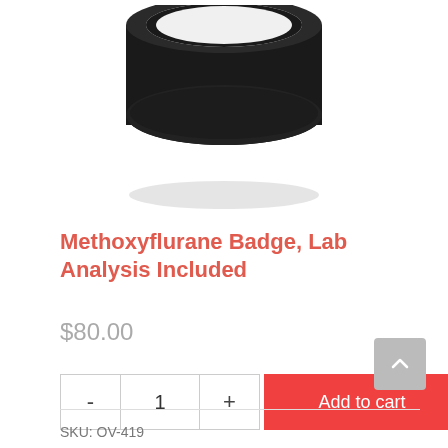[Figure (photo): Product photo of a round black monitoring badge/dosimeter with a white circular interior, viewed from above at a slight angle.]
Methoxyflurane Badge, Lab Analysis Included
$80.00
- 1 + Add to cart
SKU: OV-419